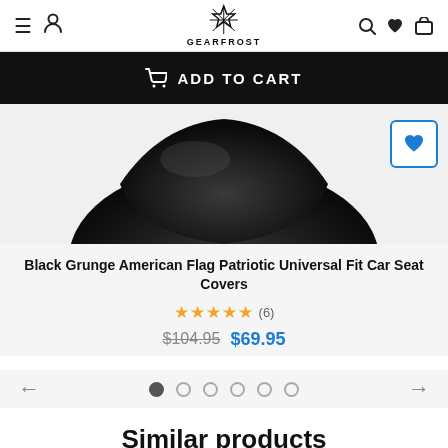GEARFROST
ADD TO CART
[Figure (photo): Black car seat cover product image showing a dark shaped seat cover, with a blue heart/wishlist button in the top right corner]
Black Grunge American Flag Patriotic Universal Fit Car Seat Covers
★★★★★ (6)
$104.95  $69.95
Similar products